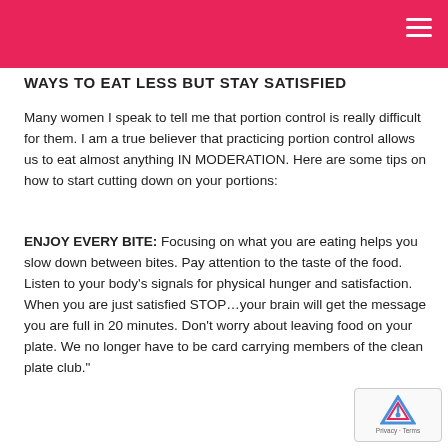WAYS TO EAT LESS BUT STAY SATISFIED
Many women I speak to tell me that portion control is really difficult for them. I am a true believer that practicing portion control allows us to eat almost anything IN MODERATION. Here are some tips on how to start cutting down on your portions:
ENJOY EVERY BITE: Focusing on what you are eating helps you slow down between bites. Pay attention to the taste of the food. Listen to your body's signals for physical hunger and satisfaction. When you are just satisfied STOP…your brain will get the message you are full in 20 minutes. Don't worry about leaving food on your plate. We no longer have to be card carrying members of the clean plate club."